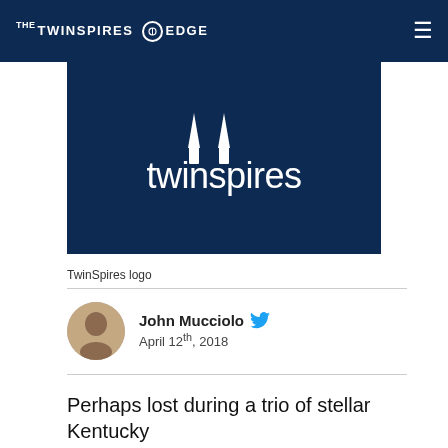THE TWINSPIRES EDGE
[Figure (logo): TwinSpires logo — white text 'twinspires' with twin spire icons on dark navy background]
TwinSpires logo
John Mucciolo  April 12th, 2018
Perhaps lost during a trio of stellar Kentucky